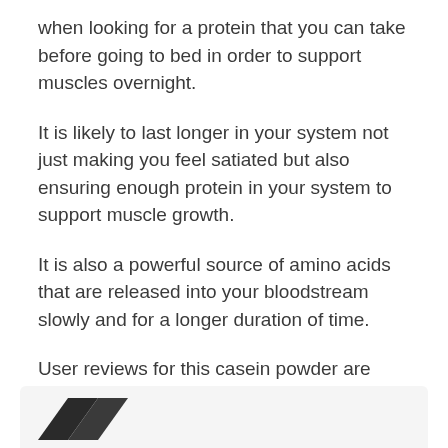when looking for a protein that you can take before going to bed in order to support muscles overnight.
It is likely to last longer in your system not just making you feel satiated but also ensuring enough protein in your system to support muscle growth.
It is also a powerful source of amino acids that are released into your bloodstream slowly and for a longer duration of time.
User reviews for this casein powder are quite good and it comes with quite a reasonable price tag too.
[Figure (photo): Partial image of a product at bottom of page, showing a dark diagonal chevron/arrow shape on a light grey background]